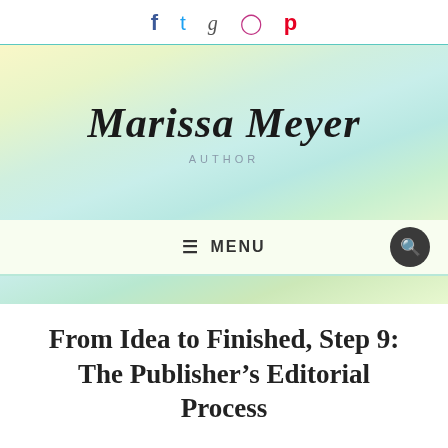Social icons: Facebook, Twitter, Goodreads, Instagram, Pinterest
[Figure (logo): Marissa Meyer Author website header banner with pastel watercolor gradient background showing the name 'Marissa Meyer' in cursive script and 'AUTHOR' in spaced caps below]
≡ MENU
From Idea to Finished, Step 9: The Publisher's Editorial Process